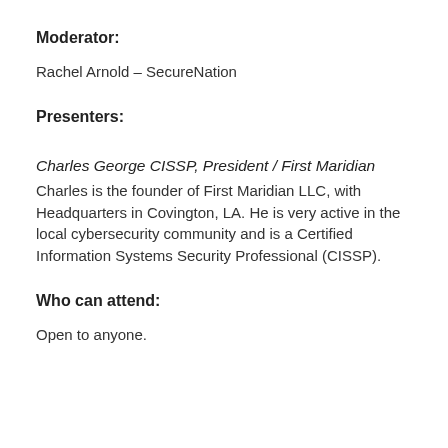Moderator:
Rachel Arnold – SecureNation
Presenters:
Charles George CISSP, President / First Maridian
Charles is the founder of First Maridian LLC, with Headquarters in Covington, LA. He is very active in the local cybersecurity community and is a Certified Information Systems Security Professional (CISSP).
Who can attend:
Open to anyone.